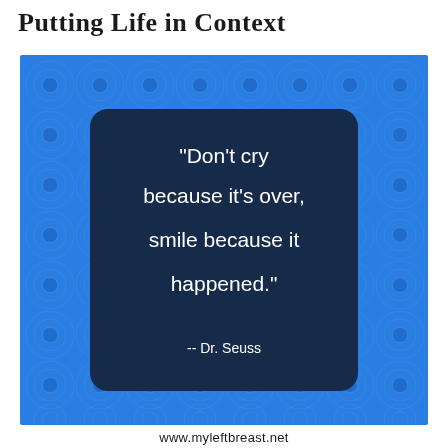Putting Life in Context
[Figure (illustration): Blue background with repeating concentric circle pattern. A dark navy rounded rectangle card in the center displays the Dr. Seuss quote: "Don't cry because it's over, smile because it happened." -- Dr. Seuss]
www.myleftbreast.net